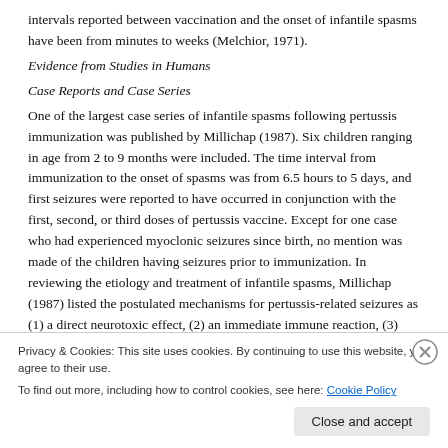intervals reported between vaccination and the onset of infantile spasms have been from minutes to weeks (Melchior, 1971).
Evidence from Studies in Humans
Case Reports and Case Series
One of the largest case series of infantile spasms following pertussis immunization was published by Millichap (1987). Six children ranging in age from 2 to 9 months were included. The time interval from immunization to the onset of spasms was from 6.5 hours to 5 days, and first seizures were reported to have occurred in conjunction with the first, second, or third doses of pertussis vaccine. Except for one case who had experienced myoclonic seizures since birth, no mention was made of the children having seizures prior to immunization. In reviewing the etiology and treatment of infantile spasms, Millichap (1987) listed the postulated mechanisms for pertussis-related seizures as (1) a direct neurotoxic effect, (2) an immediate immune reaction, (3) delayed cellular hypersensitivity reaction, and (4) vaccine-induced activation of a latent neurotropic virus
Privacy & Cookies: This site uses cookies. By continuing to use this website, you agree to their use.
To find out more, including how to control cookies, see here: Cookie Policy
Close and accept